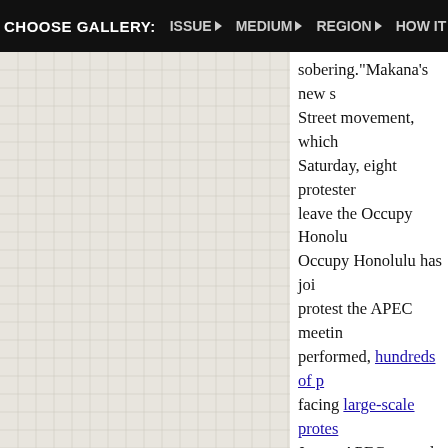CHOOSE GALLERY: ISSUE▶ MEDIUM▶ REGION▶ HOW IT WORKS▶
[Figure (other): Grid panel with light beige/tan background and fine grid lines forming small squares, positioned on the left side of the page below the navigation bar.]
sobering."Makana's new s... Street movement, which ... Saturday, eight protester... leave the Occupy Honolu... Occupy Honolulu has joi... protest the APEC meetin... performed, hundreds of p... facing large-scale protes... Japan, APEC moved this ... piece of land on earth. In... families were moved out... were spent on security—i... weapons for crowd contro... dollar security plans back... was shot and killed by a 2... providing security for dig... by the Yes Lab and Occu... Occupy protesters have ...